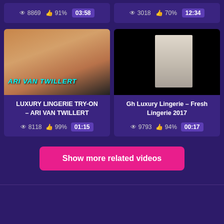[Figure (screenshot): Top partial video cards showing stats: left card 8869 views 91% likes 03:58, right card 3018 views 70% likes 12:34]
[Figure (screenshot): Left video thumbnail for LUXURY LINGERIE TRY-ON – ARI VAN TWILLERT with cyan text overlay on warm-toned image]
LUXURY LINGERIE TRY-ON – ARI VAN TWILLERT
8118  99%  01:15
[Figure (screenshot): Right video thumbnail for Gh Luxury Lingerie – Fresh Lingerie 2017 showing dark background with small centered photo]
Gh Luxury Lingerie – Fresh Lingerie 2017
9793  94%  00:17
Show more related videos